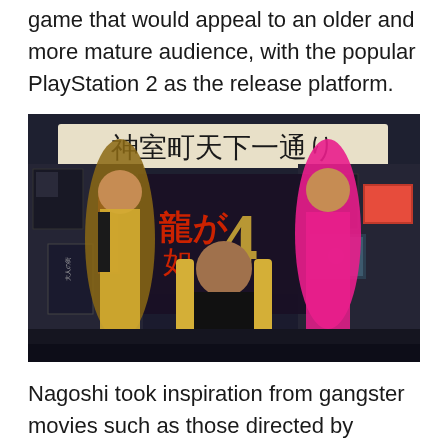game that would appeal to an older and more mature audience, with the popular PlayStation 2 as the release platform.
[Figure (photo): Promotional photo for Yakuza 4 (Ryu ga Gotoku 4) featuring three people posing in front of a Kamurocho street backdrop with the game logo. A man in a black tracksuit sits on a gold throne in the center, flanked by two women in glamorous outfits.]
Nagoshi took inspiration from gangster movies such as those directed by "Beat" Takeshi Kitano and decided to set the game in the Tokyo neighborhood of Kabukicho.